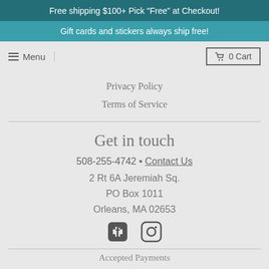Free shipping $100+ Pick "Free" at Checkout!
Gift cards and stickers always ship free!
Menu
0 Cart
Privacy Policy
Terms of Service
Get in touch
508-255-4742 • Contact Us
2 Rt 6A Jeremiah Sq.
PO Box 1011
Orleans, MA 02653
[Figure (illustration): Facebook and Instagram social media icons]
Accepted Payments